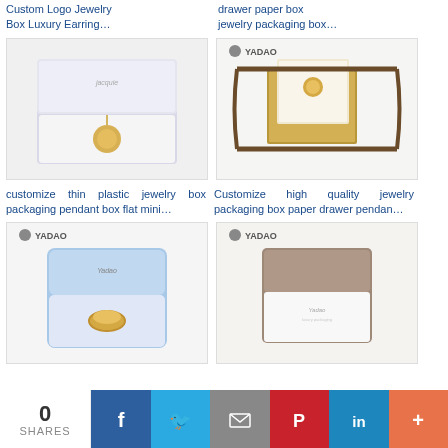Custom Logo Jewelry Box Luxury Earring...
drawer paper box jewelry packaging box...
[Figure (photo): Open clamshell jewelry box with pendant necklace inside, gray/blue exterior]
[Figure (photo): YADAO branded drawer paper box jewelry packaging with brown ribbon and gold pendant]
customize thin plastic jewelry box packaging pendant box flat mini...
Customize high quality jewelry packaging box paper drawer pendan...
[Figure (photo): YADAO light blue velvet ring/pendant jewelry box open showing gold ring]
[Figure (photo): YADAO brown/taupe leatherette open jewelry box with white interior]
0 SHARES | Facebook | Twitter | Email | Pinterest | LinkedIn | More